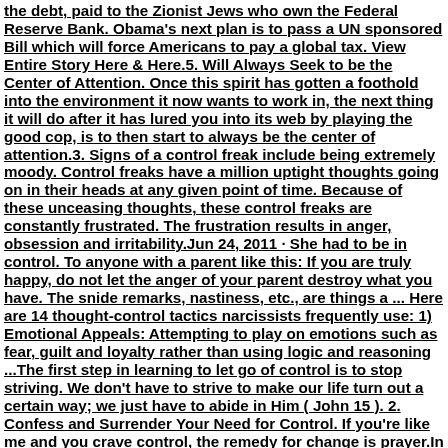the debt, paid to the Zionist Jews who own the Federal Reserve Bank. Obama's next plan is to pass a UN sponsored Bill which will force Americans to pay a global tax. View Entire Story Here & Here.5. Will Always Seek to be the Center of Attention. Once this spirit has gotten a foothold into the environment it now wants to work in, the next thing it will do after it has lured you into its web by playing the good cop, is to then start to always be the center of attention.3. Signs of a control freak include being extremely moody. Control freaks have a million uptight thoughts going on in their heads at any given point of time. Because of these unceasing thoughts, these control freaks are constantly frustrated. The frustration results in anger, obsession and irritability.Jun 24, 2011 · She had to be in control. To anyone with a parent like this: If you are truly happy, do not let the anger of your parent destroy what you have. The snide remarks, nastiness, etc., are things a ... Here are 14 thought-control tactics narcissists frequently use: 1) Emotional Appeals: Attempting to play on emotions such as fear, guilt and loyalty rather than using logic and reasoning ...The first step in learning to let go of control is to stop striving. We don't have to strive to make our life turn out a certain way; we just have to abide in Him ( John 15 ). 2. Confess and Surrender Your Need for Control. If you're like me and you crave control, the remedy for change is prayer.In severe cases, control freaks can go to the extent of physically